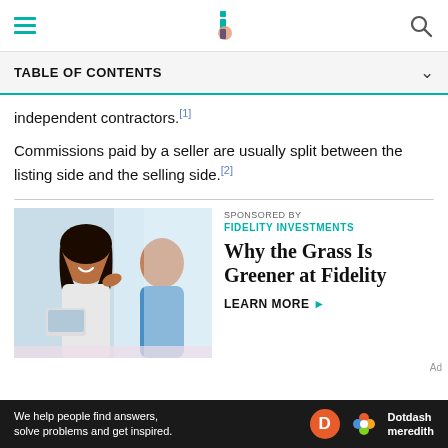TABLE OF CONTENTS
independent contractors. [1]
Commissions paid by a seller are usually split between the listing side and the selling side. [2]
[Figure (photo): Sponsored advertisement photo showing two women in a business meeting, one smiling and gesturing. Sponsored by Fidelity Investments. Headline: Why the Grass Is Greener at Fidelity. LEARN MORE >]
SPONSORED BY FIDELITY INVESTMENTS — Why the Grass Is Greener at Fidelity — LEARN MORE >
We help people find answers, solve problems and get inspired. Dotdash meredith